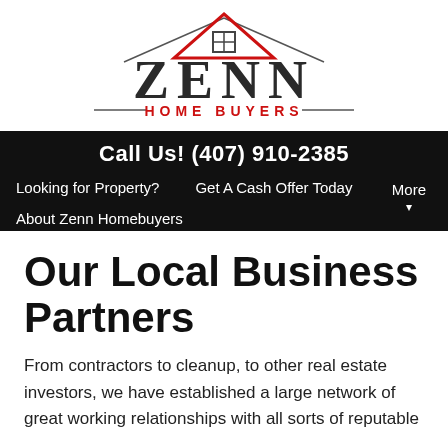[Figure (logo): Zenn Home Buyers logo with red roof/house icon above large ZENN text and red HOME BUYERS subtitle with decorative lines]
Call Us! (407) 910-2385
Looking for Property?    Get A Cash Offer Today    More
About Zenn Homebuyers
Our Local Business Partners
From contractors to cleanup, to other real estate investors, we have established a large network of great working relationships with all sorts of reputable